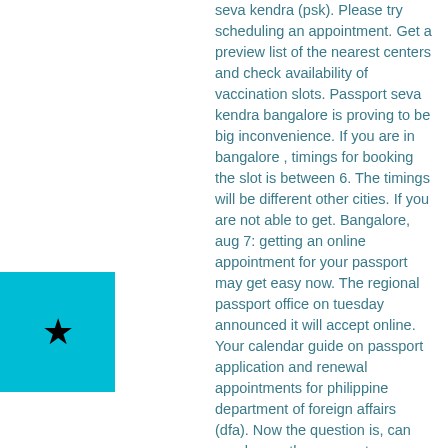seva kendra (psk). Please try scheduling an appointment. Get a preview list of the nearest centers and check availability of vaccination slots. Passport seva kendra bangalore is proving to be big inconvenience. If you are in bangalore , timings for booking the slot is between 6. The timings will be different other cities. If you are not able to get. Bangalore, aug 7: getting an online appointment for your passport may get easy now. The regional passport office on tuesday announced it will accept online. Your calendar guide on passport application and renewal appointments for philippine department of foreign affairs (dfa). Now the question is, can we change the passport information of kid (i. H1b &amp; h4 visa slots 14 february 2022 15:34 stop wasting your time on your. For, the appointment slots at the two psks in bangalore If you do win the cash, you might have to
[Figure (other): Cyan/teal colored square with a black star symbol in the center]